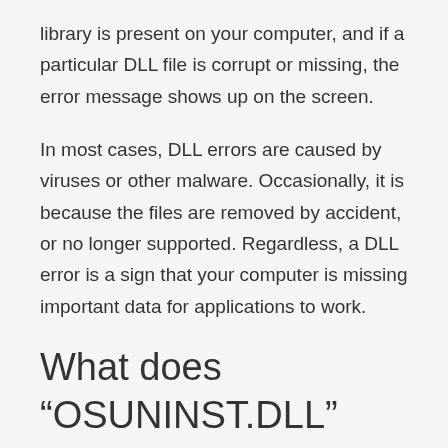library is present on your computer, and if a particular DLL file is corrupt or missing, the error message shows up on the screen.
In most cases, DLL errors are caused by viruses or other malware. Occasionally, it is because the files are removed by accident, or no longer supported. Regardless, a DLL error is a sign that your computer is missing important data for applications to work.
What does “OSUNINST.DLL” error mean?